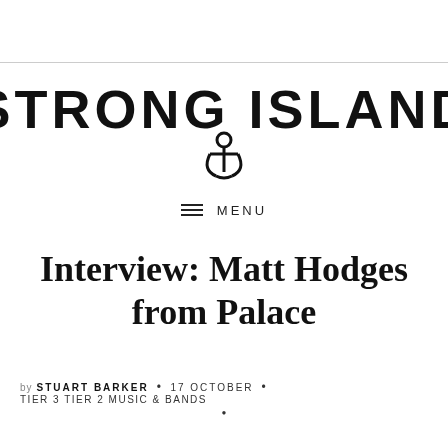[Figure (logo): Strong Island logo with anchor icon]
≡ MENU
Interview: Matt Hodges from Palace
by STUART BARKER • 17 OCTOBER • TIER 3 TIER 2 MUSIC & BANDS •